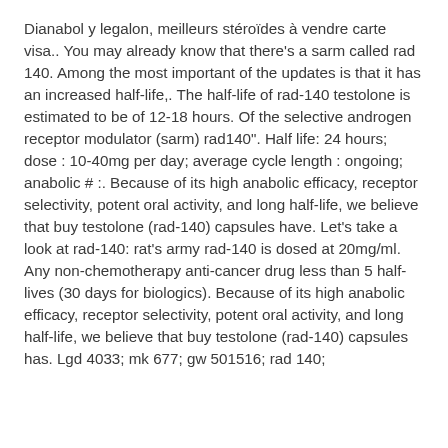Dianabol y legalon, meilleurs stéroïdes à vendre carte visa.. You may already know that there's a sarm called rad 140. Among the most important of the updates is that it has an increased half-life,. The half-life of rad-140 testolone is estimated to be of 12-18 hours. Of the selective androgen receptor modulator (sarm) rad140". Half life: 24 hours; dose : 10-40mg per day; average cycle length : ongoing; anabolic # :. Because of its high anabolic efficacy, receptor selectivity, potent oral activity, and long half-life, we believe that buy testolone (rad-140) capsules have. Let's take a look at rad-140: rat's army rad-140 is dosed at 20mg/ml. Any non-chemotherapy anti-cancer drug less than 5 half-lives (30 days for biologics). Because of its high anabolic efficacy, receptor selectivity, potent oral activity, and long half-life, we believe that buy testolone (rad-140) capsules has. Lgd 4033; mk 677; gw 501516; rad 140;